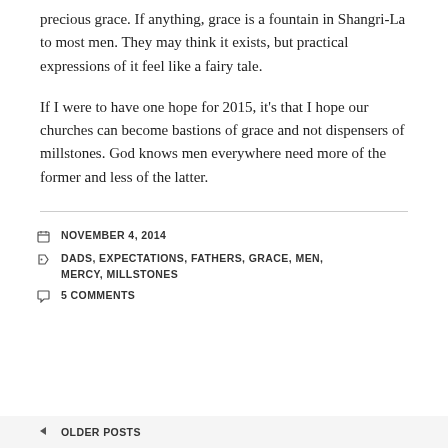precious grace. If anything, grace is a fountain in Shangri-La to most men. They may think it exists, but practical expressions of it feel like a fairy tale.
If I were to have one hope for 2015, it’s that I hope our churches can become bastions of grace and not dispensers of millstones. God knows men everywhere need more of the former and less of the latter.
NOVEMBER 4, 2014 | DADS, EXPECTATIONS, FATHERS, GRACE, MEN, MERCY, MILLSTONES | 5 COMMENTS
OLDER POSTS